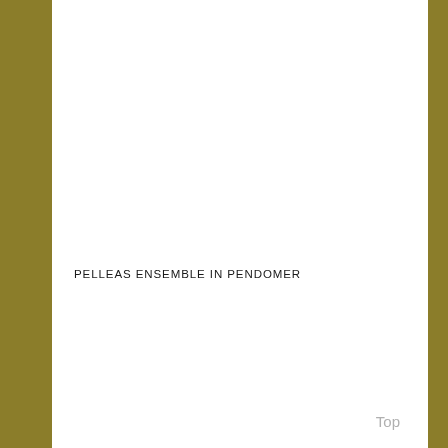PELLEAS ENSEMBLE IN PENDOMER
Top